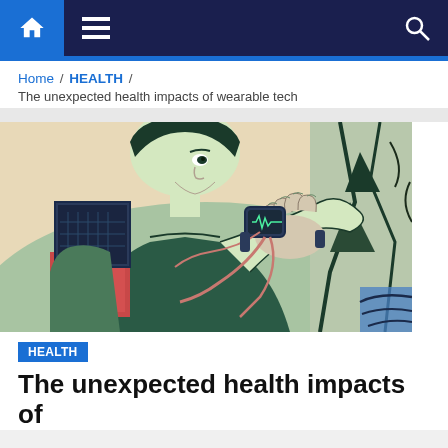Navigation bar with home, menu, and search icons
Home / HEALTH /
The unexpected health impacts of wearable tech
[Figure (illustration): Comic/illustration style artwork showing a person holding and examining a wearable health monitoring device with cables/wires attached to their body, rendered in retro pop-art style with teal, salmon, and dark green colors.]
HEALTH
The unexpected health impacts of